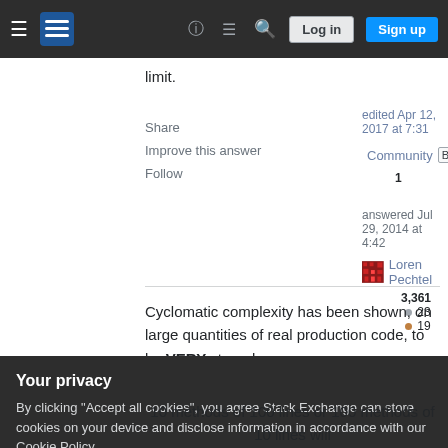Stack Exchange navigation bar with Log in and Sign up buttons
limit.
Share
Improve this answer
Follow
edited Apr 12, 2017 at 7:31
Community Bot
1
answered Jul 29, 2014 at 4:42
Loren Pechtel
3,361 ● 23 ● 19
Cyclomatic complexity has been shown, on large quantities of real production code, to be VERY strongly
Your privacy
By clicking "Accept all cookies", you agree Stack Exchange can store cookies on your device and disclose information in accordance with our Cookie Policy.
Accept all cookies   Customize settings
10 methods of 100 lines or 100 methods of 10 lines will